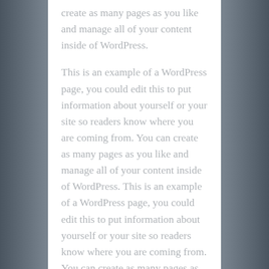create as many pages as you like and manage all of your content inside of WordPress.
This is an example of a WordPress page, you could edit this to put information about yourself or your site so readers know where you are coming from. You can create as many pages as you like and manage all of your content inside of WordPress. This is an example of a WordPress page, you could edit this to put information about yourself or your site so readers know where you are coming from. You can create as many pages as you like and manage all of your content inside of WordPress.